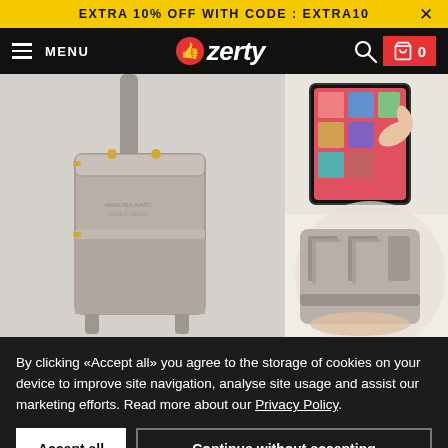EXTRA 10% OFF WITH CODE : EXTRA10
MENU | ozerty | 0
[Figure (photo): Product photos of a grey crossbody phone bag/wallet. Left image shows the full bag with shoulder strap. Top right shows hands using phone through a transparent touchscreen panel on the bag. Bottom right shows the bag open with multiple card slots and compartments visible.]
By clicking «Accept all» you agree to the storage of cookies on your device to improve site navigation, analyse site usage and assist our marketing efforts. Read more about our Privacy Policy.
Accept all
Continue without accepting